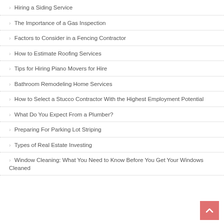Hiring a Siding Service
The Importance of a Gas Inspection
Factors to Consider in a Fencing Contractor
How to Estimate Roofing Services
Tips for Hiring Piano Movers for Hire
Bathroom Remodeling Home Services
How to Select a Stucco Contractor With the Highest Employment Potential
What Do You Expect From a Plumber?
Preparing For Parking Lot Striping
Types of Real Estate Investing
Window Cleaning: What You Need to Know Before You Get Your Windows Cleaned